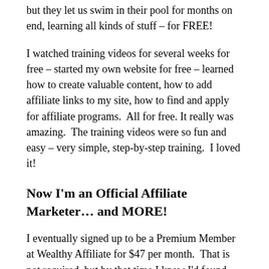but they let us swim in their pool for months on end, learning all kinds of stuff – for FREE!
I watched training videos for several weeks for free – started my own website for free – learned how to create valuable content, how to add affiliate links to my site, how to find and apply for affiliate programs.  All for free. It really was amazing.  The training videos were so fun and easy – very simple, step-by-step training.  I loved it!
Now I'm an Official Affiliate Marketer… and MORE!
I eventually signed up to be a Premium Member at Wealthy Affiliate for $47 per month.  That is not required, but by that time I knew I'd found my  new career and I wanted access to more and more…